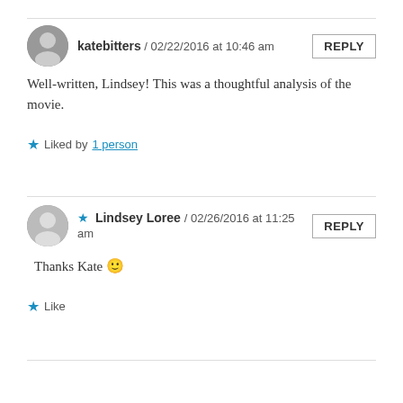katebitters / 02/22/2016 at 10:46 am
Well-written, Lindsey! This was a thoughtful analysis of the movie.
★ Liked by 1 person
★ Lindsey Loree / 02/26/2016 at 11:25 am
Thanks Kate 🙂
★ Like